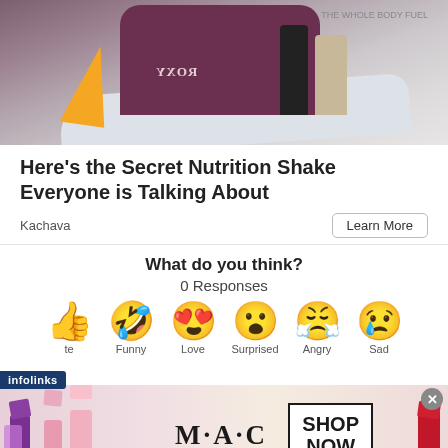[Figure (photo): Woman in purple wetsuit with Roxy logo sitting next to a white surfboard with orange fin, holding Kachava nutrition shake products. Background is a light grey/white beach scene.]
Here's the Secret Nutrition Shake Everyone is Talking About
Kachava
Learn More
What do you think?
0 Responses
[Figure (infographic): Row of emoji reaction icons: thumbs up (Upvote), laughing face with tongue (Funny), heart eyes face (Love), surprised face (Surprised), crying/angry face (Angry), sad face with tear (Sad). With infolinks label overlay.]
[Figure (photo): M·A·C cosmetics advertisement banner showing multiple lipsticks in purple, pink, and red shades, M·A·C logo text, and a SHOP NOW button.]